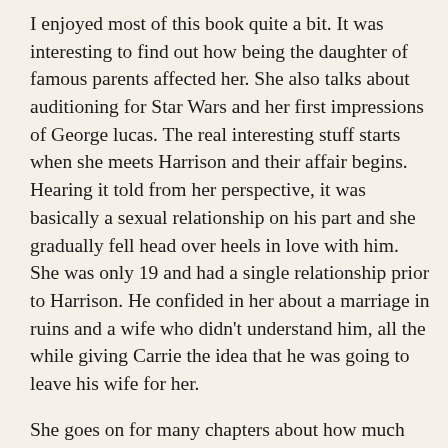I enjoyed most of this book quite a bit. It was interesting to find out how being the daughter of famous parents affected her. She also talks about auditioning for Star Wars and her first impressions of George lucas. The real interesting stuff starts when she meets Harrison and their affair begins. Hearing it told from her perspective, it was basically a sexual relationship on his part and she gradually fell head over heels in love with him. She was only 19 and had a single relationship prior to Harrison. He confided in her about a marriage in ruins and a wife who didn't understand him, all the while giving Carrie the idea that he was going to leave his wife for her.
She goes on for many chapters about how much she cares about him and is trying to fight it. It even seems like she's trying to convince herself to be aloof about it. Her diaries entries are just verbal diarrhea about loving yet not being loved, some interesting poetry on the subject, and how horrible she feels being the other...